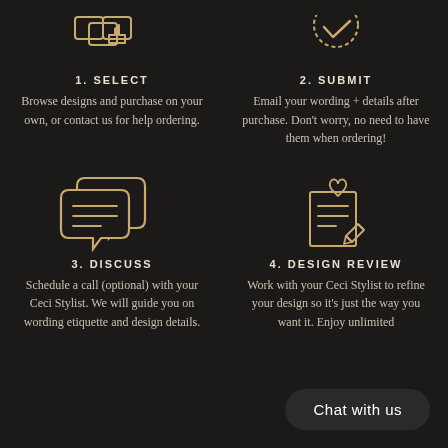[Figure (illustration): Icon showing cursor/hand clicking between document shapes (partially visible at top)]
1. SELECT
Browse designs and purchase on your own, or contact us for help ordering.
[Figure (illustration): Icon showing a circular checkmark (partially visible at top)]
2. SUBMIT
Email your wording + details after purchase. Don't worry, no need to have them when ordering!
[Figure (illustration): Two speech bubbles with lines inside, drawn in gold outline style]
3. DISCUSS
Schedule a call (optional) with your Ceci Stylist. We will guide you on wording etiquette and design details.
[Figure (illustration): Document with lines and a pencil icon, with a small heart above, drawn in gold outline style]
4. DESIGN REVIEW
Work with your Ceci Stylist to refine your design so it's just the way you want it. Enjoy unlimited
Chat with us